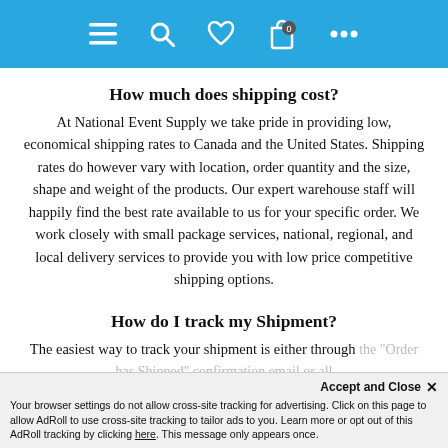Navigation bar with menu, search, wishlist, cart and more icons
How much does shipping cost?
At National Event Supply we take pride in providing low, economical shipping rates to Canada and the United States. Shipping rates do however vary with location, order quantity and the size, shape and weight of the products. Our expert warehouse staff will happily find the best rate available to us for your specific order. We work closely with small package services, national, regional, and local delivery services to provide you with low price competitive shipping options.
How do I track my Shipment?
The easiest way to track your shipment is either through the "Order has Shipped" confirmation email or all...
Accept and Close ✕
Your browser settings do not allow cross-site tracking for advertising. Click on this page to allow AdRoll to use cross-site tracking to tailor ads to you. Learn more or opt out of this AdRoll tracking by clicking here. This message only appears once.